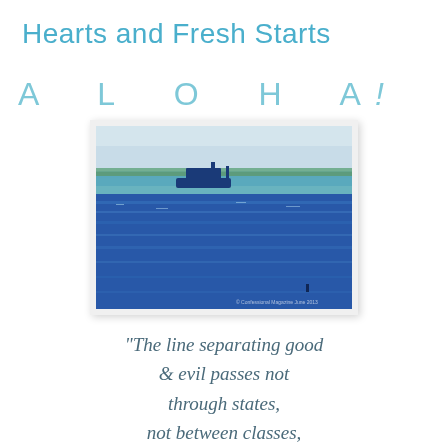Hearts and Fresh Starts
A L O H A!
[Figure (photo): A stylized blue-toned photo of a calm ocean or bay with a boat silhouette on the horizon and a flat green shoreline in the distance. The water has a pointillist or digitally processed texture in deep blue and teal tones.]
"The line separating good & evil passes not through states, not between classes,